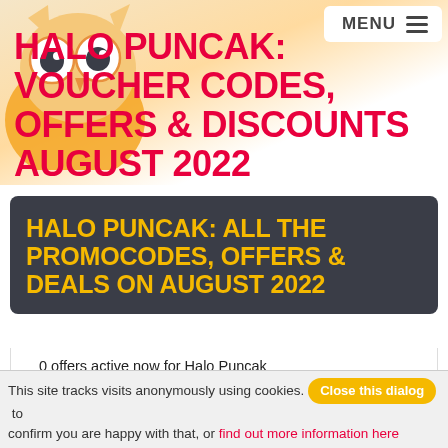[Figure (illustration): Cartoon owl mascot with big eyes, yellow and orange body, on a warm gradient background top-left corner]
MENU
HALO PUNCAK: VOUCHER CODES, OFFERS & DISCOUNTS AUGUST 2022
HALO PUNCAK: ALL THE PROMOCODES, OFFERS & DEALS ON AUGUST 2022
0 offers active now for Halo Puncak
Category: Travel (View more Offers related with the category Travel)
7333 users have taken profit of the Halo Puncak discount Codes, Offers & Voucher codes
This site tracks visits anonymously using cookies. Close this dialog to confirm you are happy with that, or find out more information here